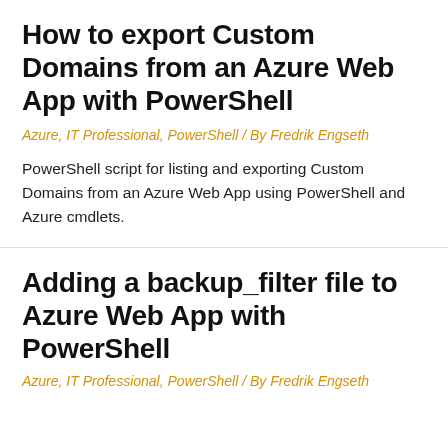How to export Custom Domains from an Azure Web App with PowerShell
Azure, IT Professional, PowerShell / By Fredrik Engseth
PowerShell script for listing and exporting Custom Domains from an Azure Web App using PowerShell and Azure cmdlets.
Adding a backup_filter file to Azure Web App with PowerShell
Azure, IT Professional, PowerShell / By Fredrik Engseth